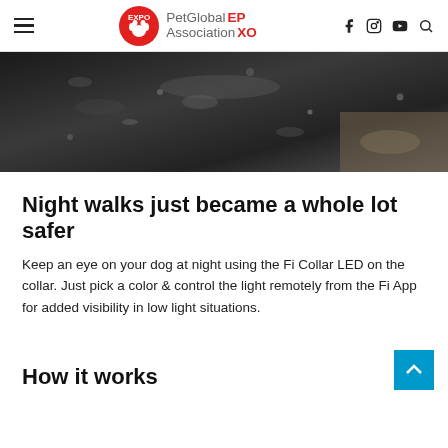PetGlobal Association EPXO
[Figure (photo): Close-up photo of wet dark surface with water droplets and sandy texture, likely a wet dog or beach surface.]
Night walks just became a whole lot safer
Keep an eye on your dog at night using the Fi Collar LED on the collar. Just pick a color & control the light remotely from the Fi App for added visibility in low light situations.
How it works